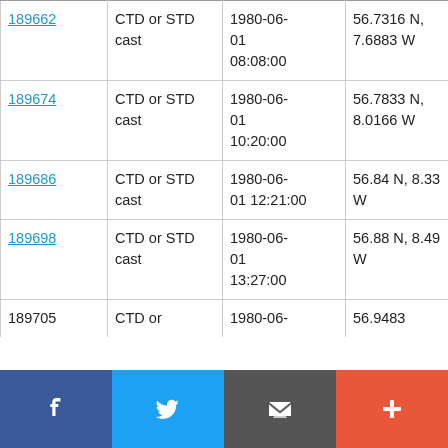| 189662 | CTD or STD cast | 1980-06-01 08:08:00 | 56.7316 N, 7.6883 W | RRS Challenger CH9B/80 |
| 189674 | CTD or STD cast | 1980-06-01 10:20:00 | 56.7833 N, 8.0166 W | RRS Challenger CH9B/80 |
| 189686 | CTD or STD cast | 1980-06-01 12:21:00 | 56.84 N, 8.33 W | RRS Challenger CH9B/80 |
| 189698 | CTD or STD cast | 1980-06-01 13:27:00 | 56.88 N, 8.49 W | RRS Challenger CH9B/80 |
| 189705 | CTD or | 1980-06- | 56.9483 | RRS |
[Figure (other): Social media sharing bar with Facebook, Twitter, email/message, and plus buttons]